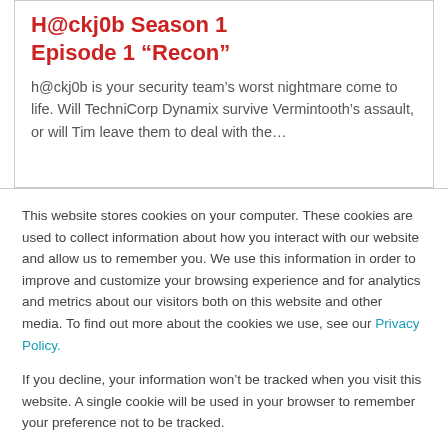H@ckj0b Season 1 Episode 1 “Recon”
h@ckj0b is your security team’s worst nightmare come to life. Will TechniCorp Dynamix survive Vermintooth’s assault, or will Tim leave them to deal with the…
This website stores cookies on your computer. These cookies are used to collect information about how you interact with our website and allow us to remember you. We use this information in order to improve and customize your browsing experience and for analytics and metrics about our visitors both on this website and other media. To find out more about the cookies we use, see our Privacy Policy.
If you decline, your information won’t be tracked when you visit this website. A single cookie will be used in your browser to remember your preference not to be tracked.